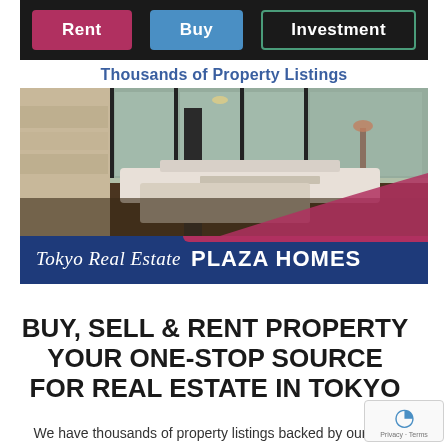[Figure (screenshot): Real estate website banner for Tokyo Real Estate Plaza Homes showing navigation buttons (Rent, Buy, Investment), tagline 'Thousands of Property Listings', luxury interior room photo, and logo bar with 'Tokyo Real Estate PLAZA HOMES']
BUY, SELL & RENT PROPERTY YOUR ONE-STOP SOURCE FOR REAL ESTATE IN TOKYO
We have thousands of property listings backed by our